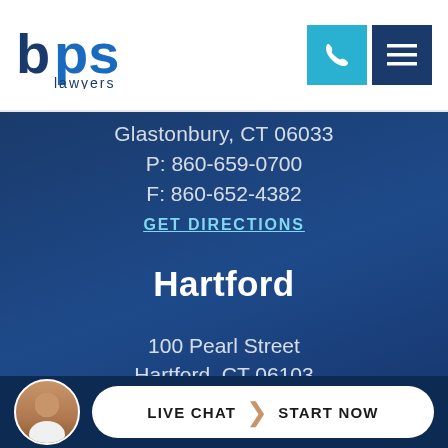[Figure (logo): BPS Lawyers logo with stylized 'bps' letters in dark blue and blue, with 'lawyers' text below]
Glastonbury, CT 06033
P: 860-659-0700
F: 860-652-4382
GET DIRECTIONS
Hartford
100 Pearl Street
Hartford, CT 06103
P: 860-522-3343
F: 860-522-2490
LIVE CHAT  START NOW